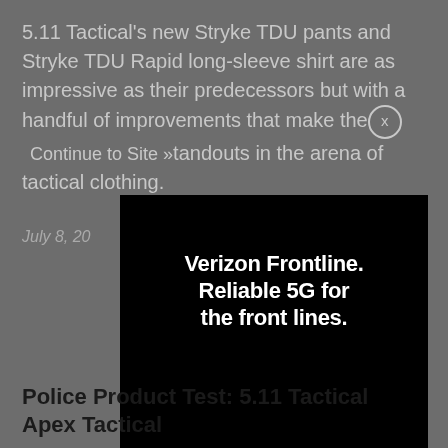5.11 Tactical's new Stryke TDU pants and Stryke TDU Rapid long-sleeve shirt are as impressive as their predecessors but with a handful of improvements that make them standouts in the arena of tactical clothing.
July 8, 20...
[Figure (screenshot): Verizon Frontline advertisement overlay on dark background. Black ad unit with white bold text: 'Verizon Frontline. Reliable 5G for the front lines.' Verizon logo with red checkmark at bottom left, 'Learn more >' at bottom right. Disclaimer text at bottom about Priority and Preemption services. Close button (X in circle) and 'Continue to Site »' link visible at top.]
Police Product Test: 5.11 Tactical Apex Tactical